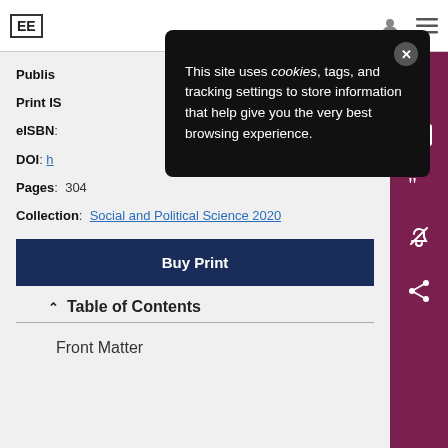EE [logo] navigation bar
[Figure (screenshot): Cookie consent popup overlay on a black background reading: This site uses cookies, tags, and tracking settings to store information that help give you the very best browsing experience.]
Published:
Print IS
eISBN:
DOI: h
Pages: 304
Collection: Social and Political Science 2020
Buy Print
Table of Contents
Front Matter